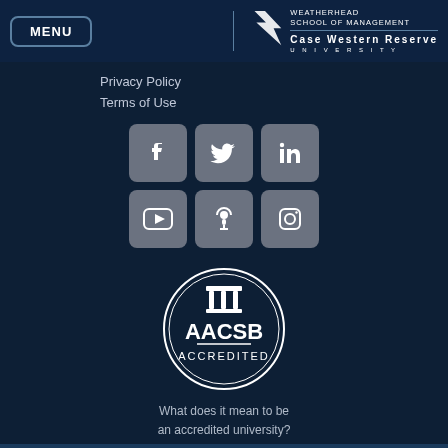MENU | WEATHERHEAD SCHOOL OF MANAGEMENT | CASE WESTERN RESERVE UNIVERSITY
Privacy Policy
Terms of Use
[Figure (infographic): Six social media icon buttons in a 3x2 grid: Facebook, Twitter, LinkedIn (top row); YouTube, Podcast, Instagram (bottom row)]
[Figure (logo): AACSB Accredited circular seal with column icon]
What does it mean to be an accredited university?